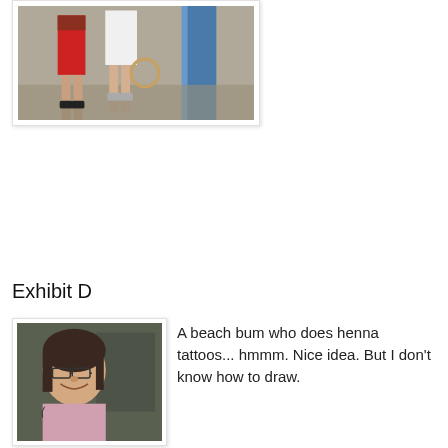[Figure (photo): Photo showing legs of two people standing near an elevator or glass door, one wearing red shorts and dark sneakers, the other wearing white skirt/dress and gray sneakers, with reflective floor visible.]
Exhibit D
[Figure (photo): Photo of a woman wearing glasses, smiling, appearing to be at some kind of event or market setting.]
A beach bum who does henna tattoos... hmmm. Nice idea. But I don't know how to draw.